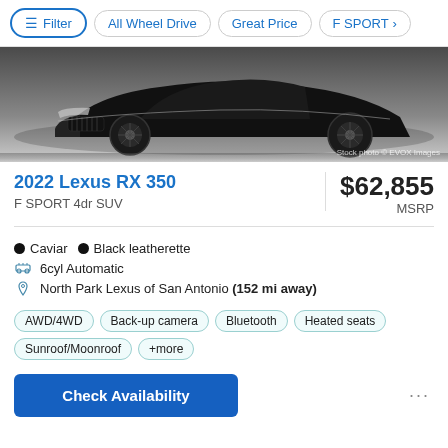Filter | All Wheel Drive | Great Price | F SPORT >
[Figure (photo): Partial front/side view of a dark-colored Lexus RX 350 SUV, showing the front bumper, grille, headlights, and wheels against a light gradient background. Watermark: Stock photo © EVOX Images]
2022 Lexus RX 350
F SPORT 4dr SUV
$62,855 MSRP
Caviar  •  Black leatherette
6cyl Automatic
North Park Lexus of San Antonio (152 mi away)
AWD/4WD  Back-up camera  Bluetooth  Heated seats  Sunroof/Moonroof  +more
Check Availability